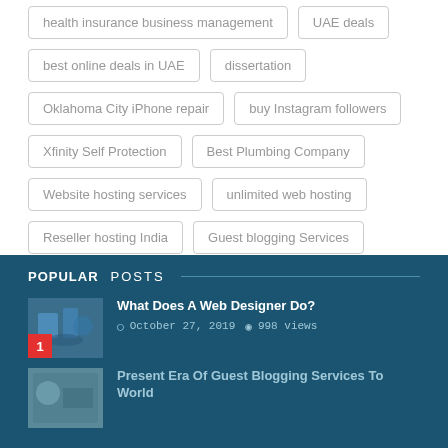health insurance business management
UAE deals
best online deals in UAE
dissertation
Oklahoma City iPhone repair
buy Instagram followers
Xfinity Self Protection
Best Plumbing Company
Website hosting services
unlimited web hosting
Reseller hosting India
Guest blogging Services
POPULAR POSTS
What Does A Web Designer Do?
October 27, 2019   998 views
Present Era Of Guest Blogging Services To World